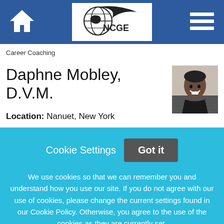[Figure (logo): NCGE logo with globe and swoosh, navigation bar with home icon and hamburger menu on blue background]
Career Coaching
Daphne Mobley, D.V.M.
[Figure (photo): Professional headshot of Daphne Mobley, a smiling woman with short dark hair wearing a dark top]
Location: Nanuet, New York
Cookie Settings  Got it
We use cookies so that we can remember you and understand how you use our site. If you do not agree with our use of cookies, please change the current settings found in our Cookie Policy. Otherwise, you agree to the use of the cookies as they are currently set.